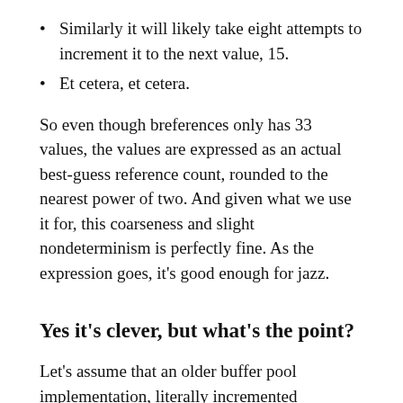Similarly it will likely take eight attempts to increment it to the next value, 15.
Et cetera, et cetera.
So even though breferences only has 33 values, the values are expressed as an actual best-guess reference count, rounded to the nearest power of two. And given what we use it for, this coarseness and slight nondeterminism is perfectly fine. As the expression goes, it’s good enough for jazz.
Yes it’s clever, but what’s the point?
Let’s assume that an older buffer pool implementation, literally incremented